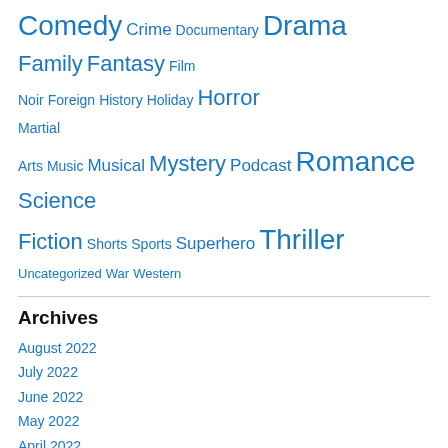Comedy Crime Documentary Drama Family Fantasy Film Noir Foreign History Holiday Horror Martial Arts Music Musical Mystery Podcast Romance Science Fiction Shorts Sports Superhero Thriller Uncategorized War Western
Archives
August 2022
July 2022
June 2022
May 2022
April 2022
March 2022
February 2022
January 2022
December 2021